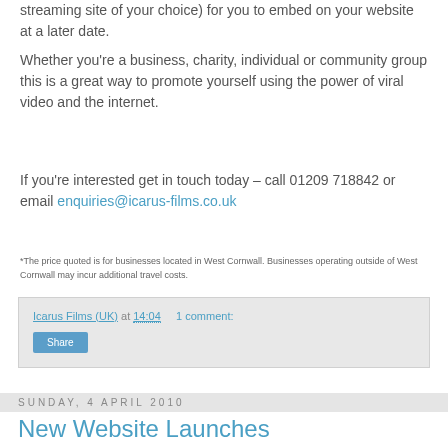completed rounds will then upload the finished film to YouTube (or a video streaming site of your choice) for you to embed on your website at a later date.
Whether you're a business, charity, individual or community group this is a great way to promote yourself using the power of viral video and the internet.
If you're interested get in touch today – call 01209 718842 or email enquiries@icarus-films.co.uk
*The price quoted is for businesses located in West Cornwall. Businesses operating outside of West Cornwall may incur additional travel costs.
Icarus Films (UK) at 14:04   1 comment:
Share
Sunday, 4 April 2010
New Website Launches